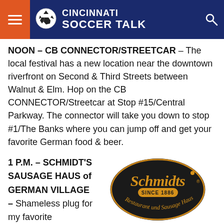[Figure (logo): Cincinnati Soccer Talk website header with hamburger menu icon on orange background, soccer ball logo icon, 'CINCINNATI SOCCER TALK' text in white on dark navy blue background, and search icon on the right]
NOON – CB CONNECTOR/STREETCAR – The local festival has a new location near the downtown riverfront on Second & Third Streets between Walnut & Elm. Hop on the CB CONNECTOR/Streetcar at Stop #15/Central Parkway. The connector will take you down to stop #1/The Banks where you can jump off and get your favorite German food & beer.
1 P.M. – SCHMIDT'S SAUSAGE HAUS of GERMAN VILLAGE – Shameless plug for my favorite
[Figure (logo): Schmidt's Restaurant und Sausage Haus logo — black oval with gold/orange script 'Schmidts' text, 'SINCE 1886' in gold, and 'Restaurant und Sausage Haus' in gold script around the bottom]